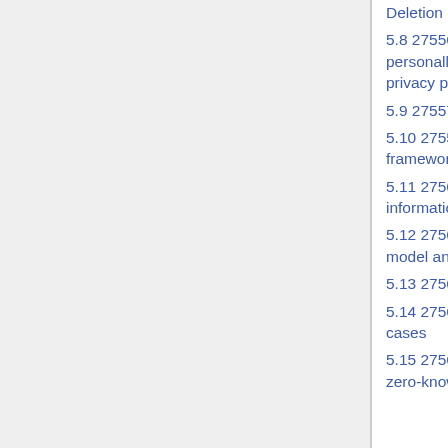Deletion
5.8 27556 IS User-centric framework for the handling of personally identifiable information (PII) based on privacy preferences
5.9 27557 IS Organizational privacy risk management
5.10 27559 IS Privacy-enhancing data de-identification framework
5.11 27560 TS Privacy technologies – Consent record information structure
5.12 27561 TS POMME Privacy operationalization model and method for engineering TS
5.13 27562 Privacy guidelines for Fintech services IS
5.14 27563 Impact of security and privacy in AI use cases
5.15 27565 Guidance on privacy preservation based on zero-knowledge proofs